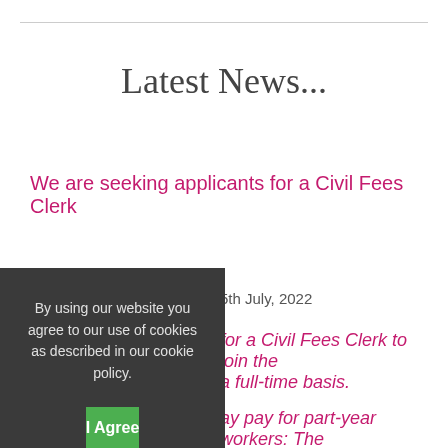Latest News...
We are seeking applicants for a Civil Fees Clerk
5th July, 2022
for a Civil Fees Clerk to join the ... a full-time basis.
ay pay for part-year workers: The arpur Trust v Brazel
By using our website you agree to our use of cookies as described in our cookie policy.
I Agree
Learn More